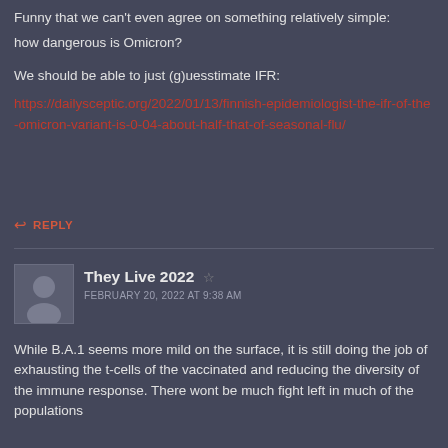Funny that we can't even agree on something relatively simple:
how dangerous is Omicron?
We should be able to just (g)uesstimate IFR:
https://dailysceptic.org/2022/01/13/finnish-epidemiologist-the-ifr-of-the-omicron-variant-is-0-04-about-half-that-of-seasonal-flu/
↩ REPLY
They Live 2022
FEBRUARY 20, 2022 AT 9:38 AM
While B.A.1 seems more mild on the surface, it is still doing the job of exhausting the t-cells of the vaccinated and reducing the diversity of the immune response. There wont be much fight left in much of the populations